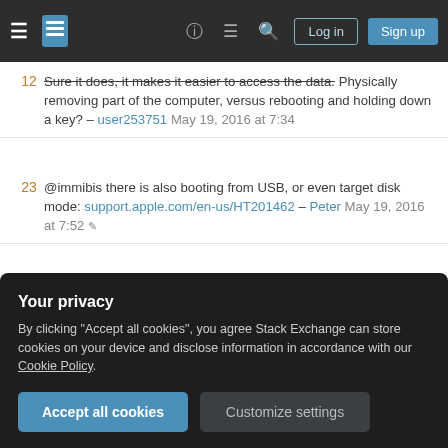Stack Exchange navigation bar with Log in and Sign up buttons
12 Sure it does, it makes it easier to access the data. Physically removing part of the computer, versus rebooting and holding down a key? – user253751 May 19, 2016 at 7:34
23 @immibis there is also booting from USB, or even target disk mode: support.apple.com/en-us/HT201462 – Peter May 19, 2016 at 7:52
7 So what about if the Mac is in a school environment or an office or a library? Someone could use this to install some malicious software or a keylogger or something else nefarious. They don't have to be an intruder, just a student or someone that normally has access rights to the computer. The "physical access is total access"
Your privacy
By clicking "Accept all cookies", you agree Stack Exchange can store cookies on your device and disclose information in accordance with our Cookie Policy.
[Accept all cookies] [Customize settings]